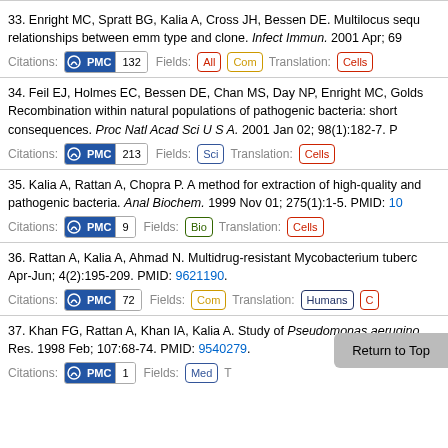33. Enright MC, Spratt BG, Kalia A, Cross JH, Bessen DE. Multilocus sequence typing of Streptococcus pyogenes and the relationships between emm type and clone. Infect Immun. 2001 Apr; 69... Citations: PMC 132 Fields: All Com Translation: Cells
34. Feil EJ, Holmes EC, Bessen DE, Chan MS, Day NP, Enright MC, Golds... Recombination within natural populations of pathogenic bacteria: short-term empirical estimates and long-term phylogenetic consequences. Proc Natl Acad Sci U S A. 2001 Jan 02; 98(1):182-7. P... Citations: PMC 213 Fields: Sci Translation: Cells
35. Kalia A, Rattan A, Chopra P. A method for extraction of high-quality and quantity plasmid DNA from pathogenic bacteria. Anal Biochem. 1999 Nov 01; 275(1):1-5. PMID: 10... Citations: PMC 9 Fields: Bio Translation: Cells
36. Rattan A, Kalia A, Ahmad N. Multidrug-resistant Mycobacterium tuberc... Apr-Jun; 4(2):195-209. PMID: 9621190. Citations: PMC 72 Fields: Com Translation: Humans C...
37. Khan FG, Rattan A, Khan IA, Kalia A. Study of Pseudomonas aerugino... Res. 1998 Feb; 107:68-74. PMID: 9540279. Citations: PMC 1 Fields: Med Translation: ...ns C...